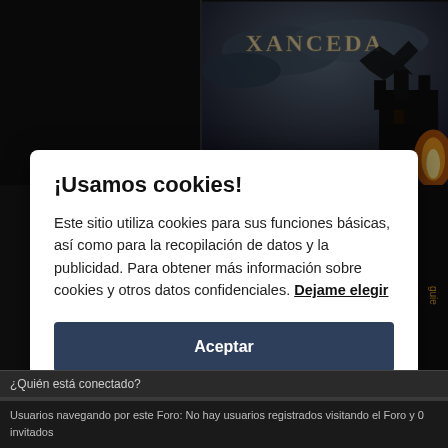[Figure (screenshot): Dark fantasy website background with 'XANCEDA' logo text and a castle/dragon silhouette against stormy sky on the right, dark black panel on the left]
¡Usamos cookies!
Este sitio utiliza cookies para sus funciones básicas, así como para la recopilación de datos y la publicidad. Para obtener más información sobre cookies y otros datos confidenciales. Dejame elegir
Aceptar
Close
¿Quién está conectado?
Usuarios navegando por este Foro: No hay usuarios registrados visitando el Foro y 0 invitados